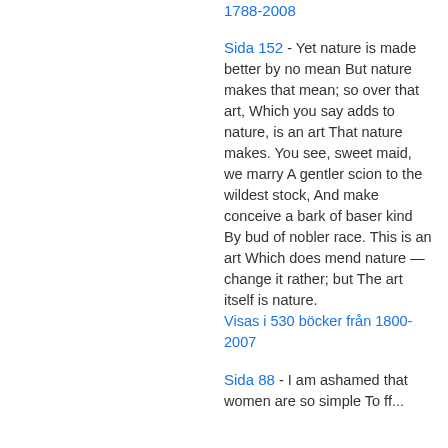1788-2008 (link)
Sida 152 - Yet nature is made better by no mean But nature makes that mean; so over that art, Which you say adds to nature, is an art That nature makes. You see, sweet maid, we marry A gentler scion to the wildest stock, And make conceive a bark of baser kind By bud of nobler race. This is an art Which does mend nature — change it rather; but The art itself is nature. Visas i 530 böcker från 1800-2007
Sida 88 - I am ashamed that women are so simple To offer...